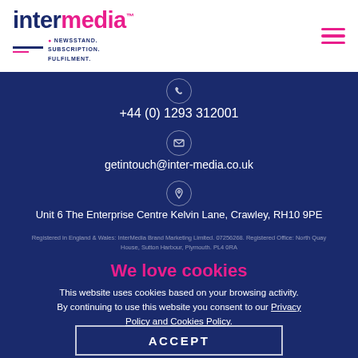[Figure (logo): InterMedia logo with tagline NEWSSTAND. SUBSCRIPTION. FULFILMENT.]
+44 (0) 1293 312001
getintouch@inter-media.co.uk
Unit 6 The Enterprise Centre Kelvin Lane, Crawley, RH10 9PE
Registered in England & Wales: InterMedia Brand Marketing Limited. 07256268. Registered Office: North Quay House, Sutton Harbour, Plymouth. PL4 0RA
We love cookies
This website uses cookies based on your browsing activity. By continuing to use this website you consent to our Privacy Policy and Cookies Policy.
ACCEPT